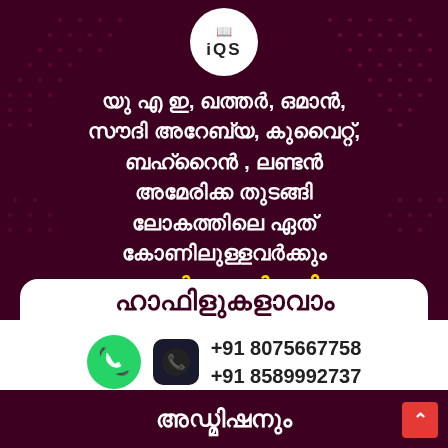[Figure (logo): IQS logo in white circle with book icon]
യു എ ഇ, ഖത്തർ, ഒമാൻ, സൗദി അറേബ്യ, കുവൈറ്റ്, ബഹ്റൈൻ , ലണ്ടൻ അമേരിക്ക തുടങ്ങി ലോകത്തിലെ ഏത് കോണിലുള്ളവർക്കും ഓൺലൈൻ വഴി
ഹാഫിളുകളാവാം
+91 8075667758
+91 8589992737
അഡ്മിഷനും